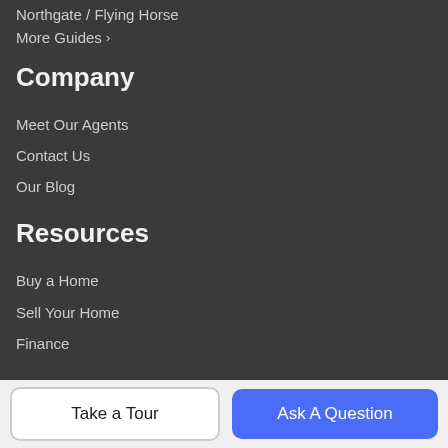Northgate / Flying Horse
More Guides ›
Company
Meet Our Agents
Contact Us
Our Blog
Resources
Buy a Home
Sell Your Home
Finance
Get Social
[Figure (illustration): Row of social media icon circles: RSS (orange), Facebook (blue), Twitter (light blue), YouTube (red), LinkedIn (teal), Pinterest (dark red), Instagram (pink/magenta)]
Take a Tour
Ask A Question